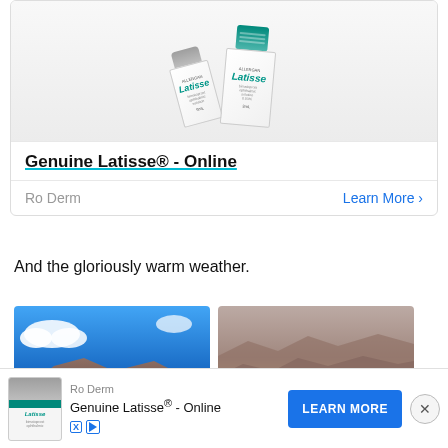[Figure (photo): Advertisement card showing two Latisse eye-drop bottles on a gray background, with bold title 'Genuine Latisse® - Online' and 'Learn More' link, sponsored by Ro Derm]
And the gloriously warm weather.
[Figure (photo): Two outdoor photos side by side: left shows a blue sky with clouds and a rocky ridge with a small figure silhouette; right shows a camel grazing on a rocky desert hillside]
[Figure (infographic): Sticky bottom advertisement banner for Ro Derm / Genuine Latisse® - Online with a LEARN MORE button and close (X) button]